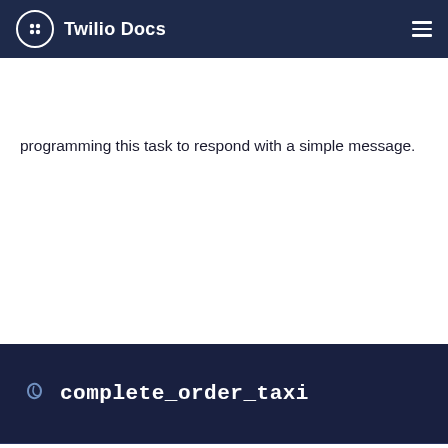Twilio Docs
programming this task to respond with a simple message.
complete_order_taxi
JSON	DEFAULT
[Figure (screenshot): JSON code block showing actions array with say and listen keys. Lines 1-9: { "actions": [ { "say": "I'll text you when your car arriv... }, { "listen": true } ] }]